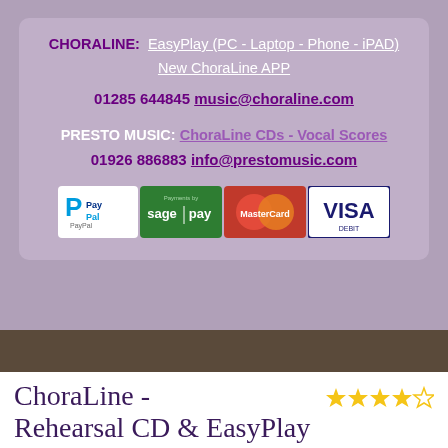CHORALINE:  EasyPlay (PC - Laptop - Phone - iPAD)
New ChoraLine APP
01285 644845  music@choraline.com
PRESTO MUSIC: ChoraLine CDs - Vocal Scores
01926 886883  info@prestomusic.com
[Figure (other): Payment method logos: PayPal, Sage Pay, MasterCard, VISA Debit]
ChoraLine - Rehearsal CD & EasyPlay